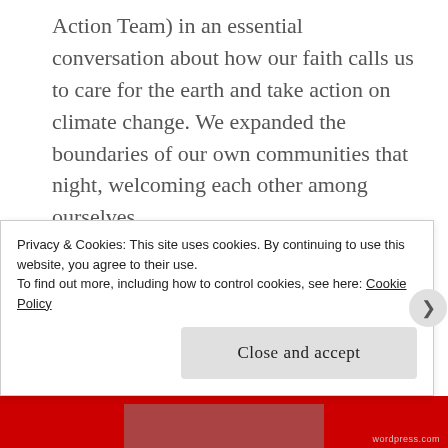Action Team) in an essential conversation about how our faith calls us to care for the earth and take action on climate change. We expanded the boundaries of our own communities that night, welcoming each other among ourselves.

Besides election day, November also hosts National Novel Writing Month. Writing 50,000 words in one month always seemed downright impossible to me- the time and moreover, the content pose a large obstacle. This year, an interfaith activist and professor at Cal Lutheran University started an
Privacy & Cookies: This site uses cookies. By continuing to use this website, you agree to their use.
To find out more, including how to control cookies, see here: Cookie Policy
Close and accept